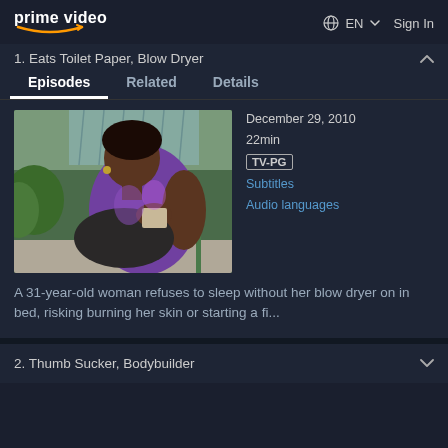prime video  EN  Sign In
1. Eats Toilet Paper, Blow Dryer
Episodes  Related  Details
[Figure (photo): A woman sitting outdoors looking at something in her hands, wearing a purple patterned top and holding a dark bag.]
December 29, 2010
22min
TV-PG
Subtitles
Audio languages
A 31-year-old woman refuses to sleep without her blow dryer on in bed, risking burning her skin or starting a fi...
2. Thumb Sucker, Bodybuilder